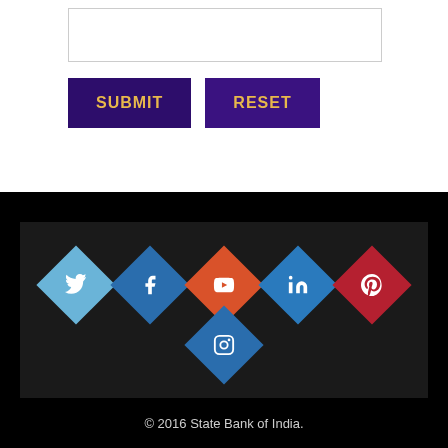[Figure (screenshot): Input text box (form field)]
[Figure (screenshot): SUBMIT and RESET buttons with dark purple background and gold text]
[Figure (infographic): Social media icons in diamond shapes: Twitter (light blue), Facebook (blue), YouTube (orange-red), LinkedIn (blue), Pinterest (red), Instagram (blue) arranged in two rows]
© 2016 State Bank of India.